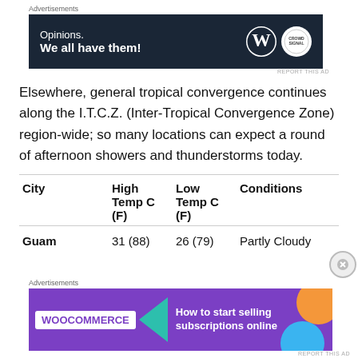[Figure (screenshot): Advertisement banner: dark navy background with text 'Opinions. We all have them!' and WordPress/CrowdSignal logos]
Elsewhere, general tropical convergence continues along the I.T.C.Z. (Inter-Tropical Convergence Zone) region-wide; so many locations can expect a round of afternoon showers and thunderstorms today.
| City | High Temp C (F) | Low Temp C (F) | Conditions |
| --- | --- | --- | --- |
| Guam | 31 (88) | 26 (79) | Partly Cloudy |
[Figure (screenshot): Advertisement banner: WooCommerce purple banner with teal arrow and text 'How to start selling subscriptions online']